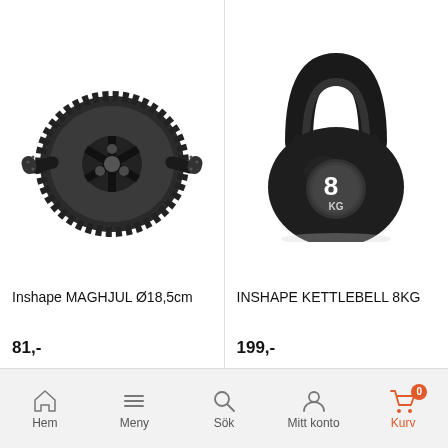[Figure (photo): Ab wheel roller with black textured wheel and handles - Inshape MAGHJUL exercise equipment]
Inshape MAGHJUL Ø18,5cm
81,-
[Figure (photo): Black kettlebell 8KG with circular weight label - Inshape Kettlebell fitness equipment]
INSHAPE KETTLEBELL 8KG
199,-
Hem  Meny  Sök  Mitt konto  Kurv